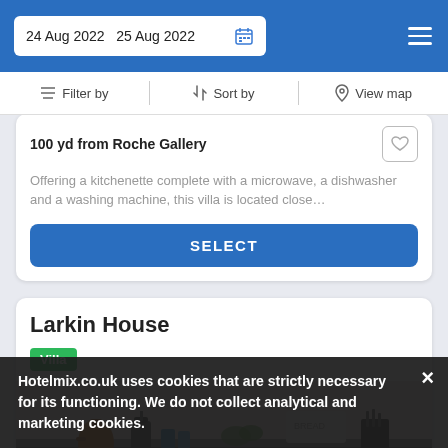24 Aug 2022  25 Aug 2022
Filter by  Sort by  View map
100 yd from Roche Gallery
Offering a kitchenette complete with a microwave, a dishwasher and a washing machine, this villa is located close…
SELECT
Larkin House
Villa
[Figure (photo): Kitchen interior with copper kettle, bread box, knives, and countertop appliances]
Hotelmix.co.uk uses cookies that are strictly necessary for its functioning. We do not collect analytical and marketing cookies.